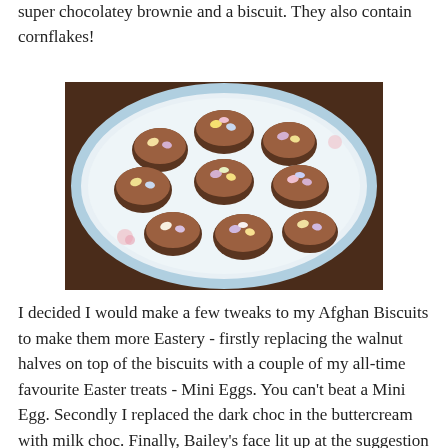super chocolatey brownie and a biscuit. They also contain cornflakes!
[Figure (photo): A plate of chocolate-frosted Easter biscuits topped with Mini Eggs (pink, yellow, purple), on a floral plate, viewed from above on a wooden surface.]
I decided I would make a few tweaks to my Afghan Biscuits to make them more Eastery - firstly replacing the walnut halves on top of the biscuits with a couple of my all-time favourite Easter treats - Mini Eggs. You can't beat a Mini Egg. Secondly I replaced the dark choc in the buttercream with milk choc. Finally, Bailey's face lit up at the suggestion of using Crunchy Nut Cornflakes in the biscuits, as this